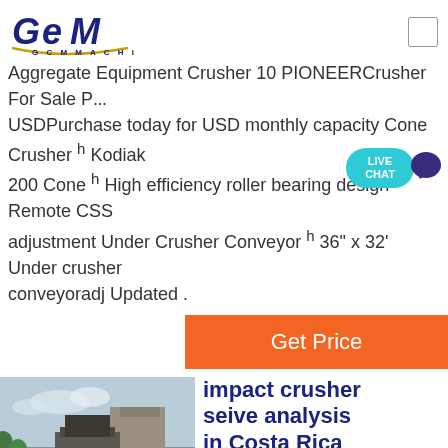GCM MACHINERY
Aggregate Equipment Crusher 10 PIONEERCrusher For Sale P... USDPurchase today for USD monthly capacity Cone Crusher ʰ Kodiak 200 Cone ʰ High efficiency roller bearing design ʰ Remote CSS adjustment Under Crusher Conveyor ʰ 36" x 32' Under crusher conveyoradj Updated .
[Figure (other): Orange Get Price button bar]
[Figure (photo): Industrial impact crusher and conveyor equipment at a quarry site with GCM logo overlay]
impact crusher seive analysis in Costa Rica
Price Impact Crusher Pf Made In Costa Rica. Froth Flotation Process In